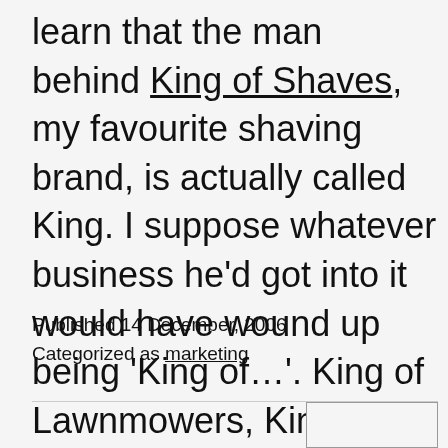learn that the man behind King of Shaves, my favourite shaving brand, is actually called King. I suppose whatever business he'd got into it would have wound up being 'King of…'. King of Lawnmowers, King of Cheese, King of Pants…
Published 14 December, 2006
Categorized as marketing